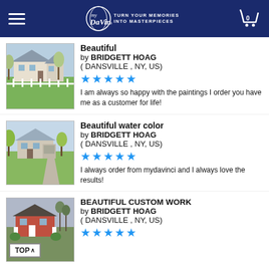myDaVinci — TURN YOUR MEMORIES INTO MASTERPIECES
Beautiful
by BRIDGETT HOAG
( DANSVILLE , NY, US)
★★★★★
I am always so happy with the paintings I order you have me as a customer for life!
Beautiful water color
by BRIDGETT HOAG
( DANSVILLE , NY, US)
★★★★★
I always order from mydavinci and I always love the results!
BEAUTIFUL CUSTOM WORK
by BRIDGETT HOAG
( DANSVILLE , NY, US)
★★★★★